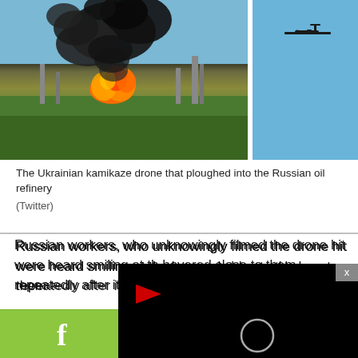[Figure (photo): Two-panel image: left panel shows a large fire with black smoke billowing from a Russian oil refinery; right panel shows a Ukrainian kamikaze drone (silhouette of aircraft) against a blue sky.]
The Ukrainian kamikaze drone that ploughed into the Russian oil refinery
(Twitter)
Russian workers, who unknowingly filmed the drone hit were heard smiling at the drone as it hovered close to them - repeatedly after it struck
[Figure (screenshot): Black video player overlay with a red play button arrow in upper left area and a white circle loading indicator in the center-right area. A gray X close button appears in the top-right corner.]
Share icons: Facebook, Twitter, WhatsApp